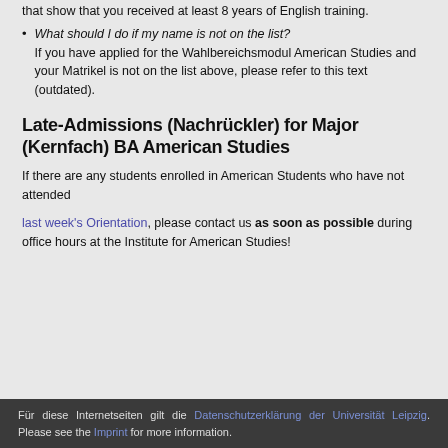that show that you received at least 8 years of English training.
What should I do if my name is not on the list? If you have applied for the Wahlbereichsmodul American Studies and your Matrikel is not on the list above, please refer to this text (outdated).
Late-Admissions (Nachrückler) for Major (Kernfach) BA American Studies
If there are any students enrolled in American Students who have not attended
last week's Orientation, please contact us as soon as possible during office hours at the Institute for American Studies!
Für diese Internetseiten gilt die Datenschutzerklärung der Universität Leipzig. Please see the Imprint for more information.